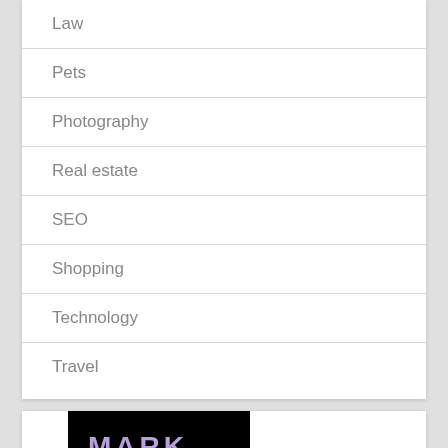Law
Pets
Photography
Real estate
SEO
Shopping
Technology
Travel
[Figure (logo): MARK logo with purple text on black background with orange underline]